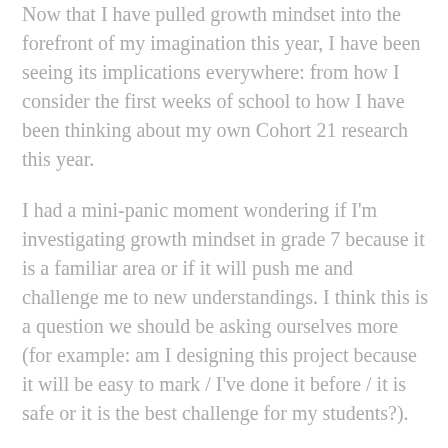Now that I have pulled growth mindset into the forefront of my imagination this year, I have been seeing its implications everywhere: from how I consider the first weeks of school to how I have been thinking about my own Cohort 21 research this year.
I had a mini-panic moment wondering if I'm investigating growth mindset in grade 7 because it is a familiar area or if it will push me and challenge me to new understandings. I think this is a question we should be asking ourselves more (for example: am I designing this project because it will be easy to mark / I've done it before / it is safe or it is the best challenge for my students?).